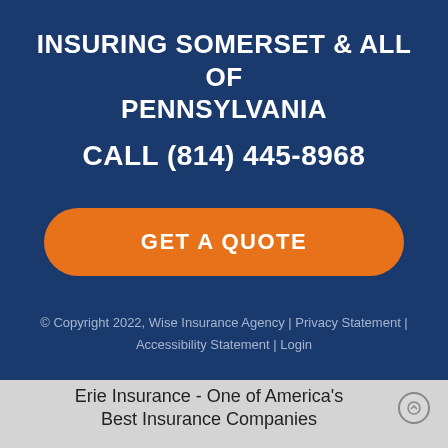INSURING SOMERSET & ALL OF PENNSYLVANIA
CALL (814) 445-8968
[Figure (other): Orange rounded-rectangle call-to-action button with white text reading GET A QUOTE]
© Copyright 2022, Wise Insurance Agency | Privacy Statement | Accessibility Statement | Login
Erie Insurance - One of America's Best Insurance Companies